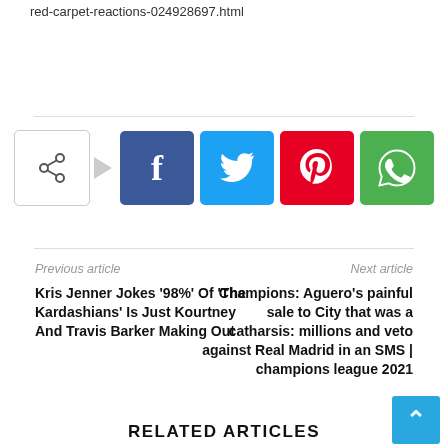red-carpet-reactions-024928697.html
[Figure (infographic): Social share buttons row: share icon (outline), Facebook (blue), Twitter (cyan), Pinterest (red), WhatsApp (green)]
Previous article
Next article
Kris Jenner Jokes ‘98%’ Of ‘The Kardashians’ Is Just Kourtney And Travis Barker Making Out
Champions: Aguero’s painful sale to City that was a catharsis: millions and veto against Real Madrid in an SMS | champions league 2021
RELATED ARTICLES
Chelsea Clinton Removes Kanye West From Her Playlist: Here’s Why